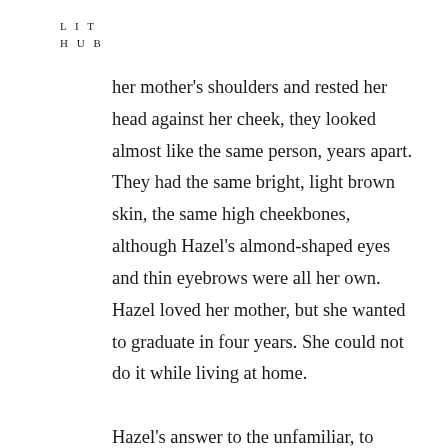L I T
H U B
her mother's shoulders and rested her head against her cheek, they looked almost like the same person, years apart. They had the same bright, light brown skin, the same high cheekbones, although Hazel's almond-shaped eyes and thin eyebrows were all her own. Hazel loved her mother, but she wanted to graduate in four years. She could not do it while living at home.

Hazel's answer to the unfamiliar, to